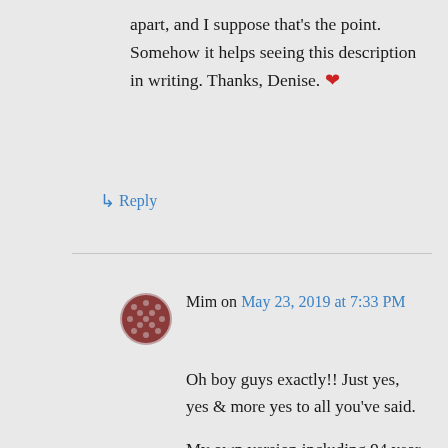apart, and I suppose that's the point. Somehow it helps seeing this description in writing. Thanks, Denise. ❤
↳ Reply
Mim on May 23, 2019 at 7:33 PM
Oh boy guys exactly!! Just yes, yes & more yes to all you've said.

My own version including 94 year old mother taking a turn and having to deal with